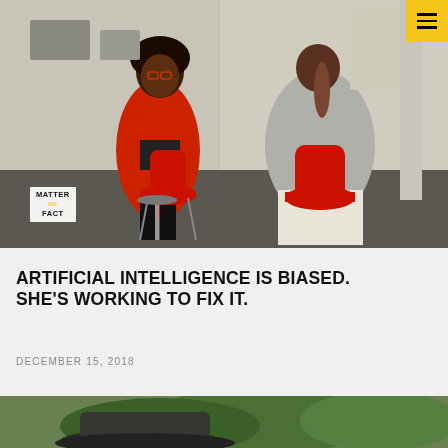[Figure (photo): Two women seated in red chairs in a workshop/tech studio setting. One woman in a red blazer faces the camera; the other woman in a gray top has her back to the camera. A 'Matter of Fact' logo watermark is visible in the lower left of the image.]
ARTIFICIAL INTELLIGENCE IS BIASED. SHE'S WORKING TO FIX IT.
DECEMBER 15, 2018
[Figure (photo): Partial view of a man wearing a gray/black hat, outdoors with green foliage in background.]